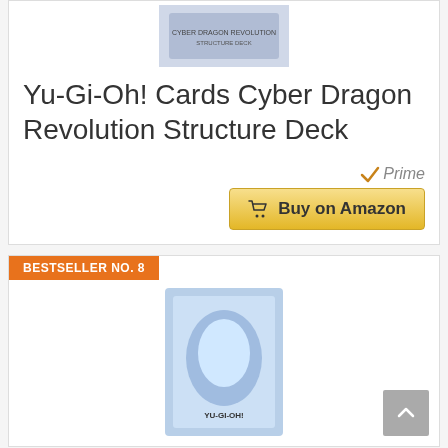[Figure (photo): Product photo of Yu-Gi-Oh! Cyber Dragon Revolution Structure Deck box at top of card]
Yu-Gi-Oh! Cards Cyber Dragon Revolution Structure Deck
[Figure (logo): Amazon Prime checkmark logo with text 'Prime']
[Figure (other): Buy on Amazon button with shopping cart icon]
BESTSELLER NO. 8
[Figure (photo): Product photo of Yu-Gi-Oh! Structure Deck with blue dragon art]